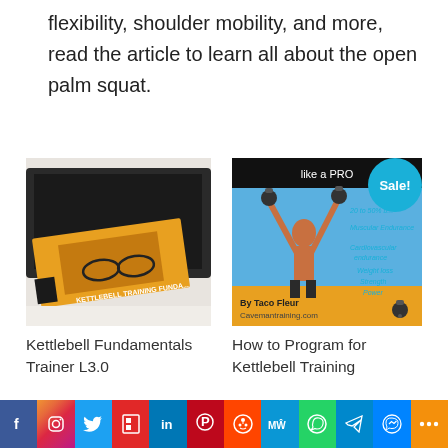flexibility, shoulder mobility, and more, read the article to learn all about the open palm squat.
[Figure (photo): Photo of a Kettlebell Fundamentals Trainer L3.0 book on a laptop]
[Figure (photo): Cover image of How to Program for Kettlebell Training book by Taco Fleur, Cavemantraining.com, with Sale badge]
Kettlebell Fundamentals Trainer L3.0
How to Program for Kettlebell Training
[Figure (infographic): Social media sharing bar with icons for Facebook, Instagram, Twitter, Flipboard, LinkedIn, Pinterest, Reddit, MeWe, WhatsApp, Telegram, Messenger, and More]